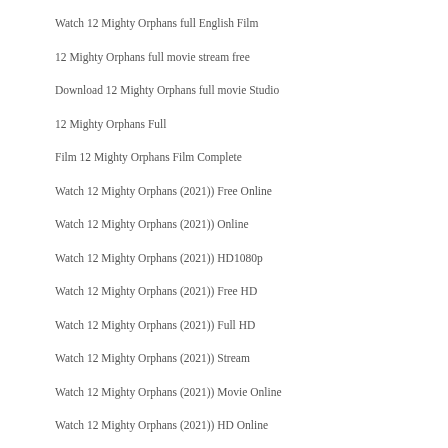Watch 12 Mighty Orphans full English Film
12 Mighty Orphans full movie stream free
Download 12 Mighty Orphans full movie Studio
12 Mighty Orphans Full
Film 12 Mighty Orphans Film Complete
Watch 12 Mighty Orphans (2021)) Free Online
Watch 12 Mighty Orphans (2021)) Online
Watch 12 Mighty Orphans (2021)) HD1080p
Watch 12 Mighty Orphans (2021)) Free HD
Watch 12 Mighty Orphans (2021)) Full HD
Watch 12 Mighty Orphans (2021)) Stream
Watch 12 Mighty Orphans (2021)) Movie Online
Watch 12 Mighty Orphans (2021)) HD Online
Watch 12 Mighty Orphans (2021) ) HD720p
Watch 12 Mighty Orphans (2021)) HD Movie